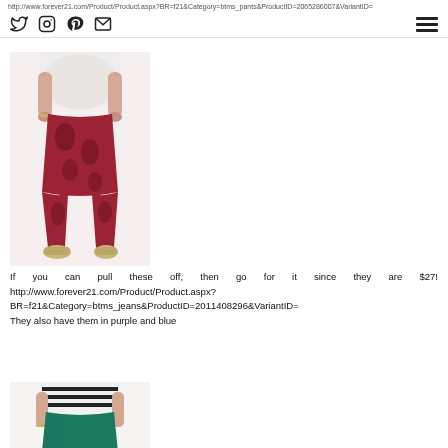http://www.forever21.com/Product/Product.aspx?BR=f21&Category=btms_pants&ProductID=2065286007&VariantID=
[Figure (photo): Model wearing red/maroon floral print skinny pants with a white top and gold sneakers, shown from waist down]
If you can pull these off, then go for it since they are $27! http://www.forever21.com/Product/Product.aspx?BR=f21&Category=btms_jeans&ProductID=2011408296&VariantID= They also have them in purple and blue
[Figure (photo): Model wearing teal/green skinny pants with a black and white striped top, shown from waist down]